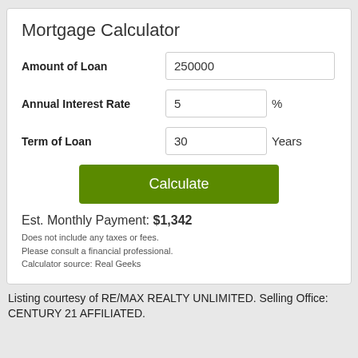Mortgage Calculator
Amount of Loan
250000
Annual Interest Rate
5 %
Term of Loan
30 Years
Calculate
Est. Monthly Payment: $1,342
Does not include any taxes or fees.
Please consult a financial professional.
Calculator source: Real Geeks
Listing courtesy of RE/MAX REALTY UNLIMITED. Selling Office: CENTURY 21 AFFILIATED.